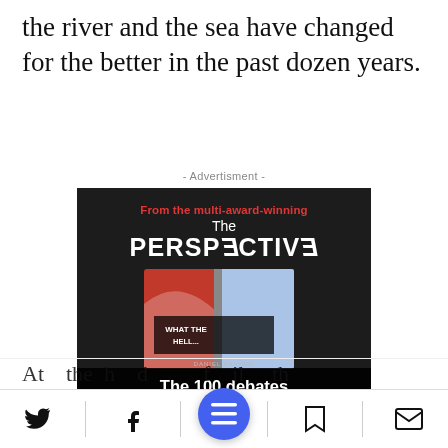the river and the sea have changed for the better in the past dozen years.
- Advertisment -
[Figure (illustration): Book advertisement for 'The Perspective' by Daniel Ravner. Dark background with book imagery. Text reads: 'From the multi-award-winning', 'The PERSPECTIVE', 'WHAT THE HELL...' on book cover. Band overlay says 'The 100 debates that govern your life.' Button: 'Available on Amazon'.]
At the same hand, the family that...
[Figure (other): Bottom navigation bar with Twitter, Facebook, menu (blue circle), bookmark, and email icons.]